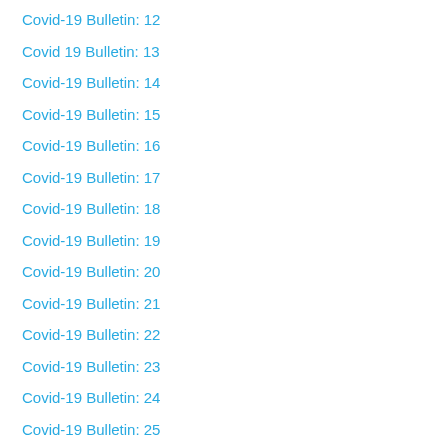Covid-19 Bulletin: 12
Covid 19 Bulletin: 13
Covid-19 Bulletin: 14
Covid-19 Bulletin: 15
Covid-19 Bulletin: 16
Covid-19 Bulletin: 17
Covid-19 Bulletin: 18
Covid-19 Bulletin: 19
Covid-19 Bulletin: 20
Covid-19 Bulletin: 21
Covid-19 Bulletin: 22
Covid-19 Bulletin: 23
Covid-19 Bulletin: 24
Covid-19 Bulletin: 25
Covid-19 Bulletin: 26